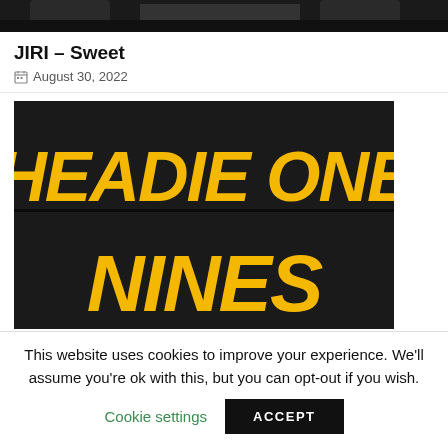[Figure (photo): Top portion of a black and white photo, cropped, showing partial figures against dark background]
JIRI – Sweet
August 30, 2022
[Figure (photo): Promotional poster with yellow bold text reading 'HEADIE ONE NINES' on a black background]
This website uses cookies to improve your experience. We'll assume you're ok with this, but you can opt-out if you wish.
Cookie settings
ACCEPT